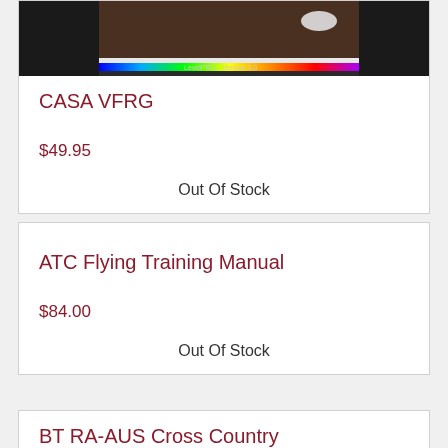[Figure (screenshot): Partial screenshot of a software interface (LevelPRO or similar aviation software) showing a dark UI with a mouse cursor and a rainbow color bar at the bottom]
CASA VFRG
$49.95
Out Of Stock
ATC Flying Training Manual
$84.00
Out Of Stock
BT RA-AUS Cross Country